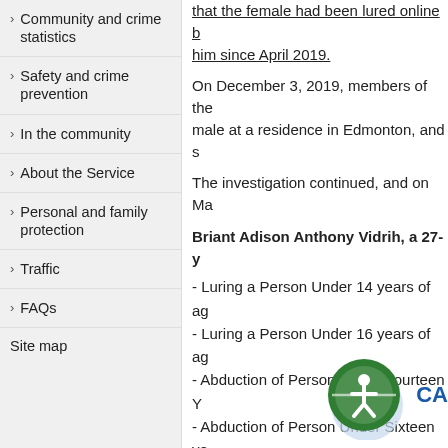Community and crime statistics
Safety and crime prevention
In the community
About the Service
Personal and family protection
Traffic
FAQs
Site map
that the female had been lured online b him since April 2019.
On December 3, 2019, members of the male at a residence in Edmonton, and s
The investigation continued, and on Ma
Briant Adison Anthony Vidrih, a 27-y
- Luring a Person Under 14 years of ag
- Luring a Person Under 16 years of ag
- Abduction of Person Under Fourteen Y
- Abduction of Person Under Sixteen ye
He was detained in custody.
Information or tips regarding the onl
[Figure (logo): Accessibility icon — green circle with white wheelchair/person symbol, partial 'CA' text in blue to the right]